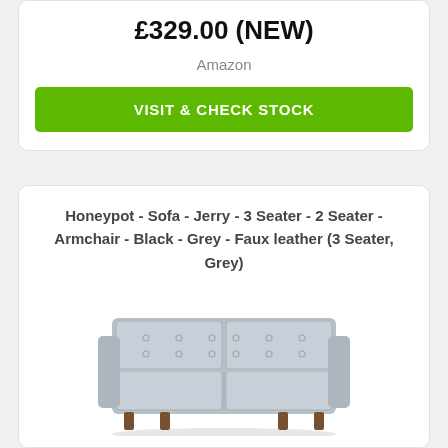£329.00 (NEW)
Amazon
VISIT & CHECK STOCK
Honeypot - Sofa - Jerry - 3 Seater - 2 Seater - Armchair - Black - Grey - Faux leather (3 Seater, Grey)
[Figure (photo): Grey faux leather 3-seater sofa with tufted back cushions and dark wooden legs]